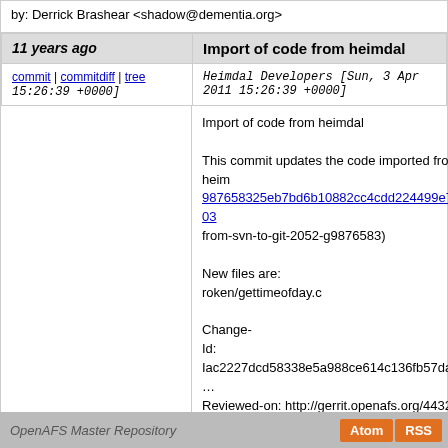by: Derrick Brashear <shadow@dementia.org>
| 11 years ago | Import of code from heimdal |
| --- | --- |
| commit | commitdiff | tree
15:26:39 +0000] | Heimdal Developers [Sun, 3 Apr 2011 15:26:39 +0000] |
Import of code from heimdal

This commit updates the code imported from heimdal
987658325eb7bd6b10882cc4cdd224499e7f7a03
from-svn-to-git-2052-g9876583)

New files are:
roken/gettimeofday.c

Change-Id: Iac2227dcd58338e5a988ce614c136fb57da639...
Reviewed-on: http://gerrit.openafs.org/4432
Tested-by: BuildBot <buildbot@rampaginggeek.com>
Reviewed-by: Derrick Brashear <shadow@dementia.org>
next
OpenAFS Master Repository